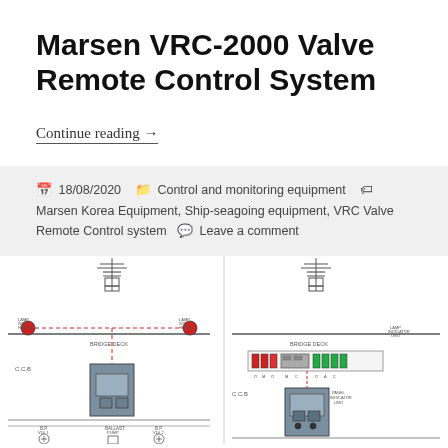Marsen VRC-2000 Valve Remote Control System
Continue reading →
18/08/2020  Control and monitoring equipment  Marsen Korea Equipment, Ship-seagoing equipment, VRC Valve Remote Control system  Leave a comment
[Figure (engineering-diagram): Two side-by-side engineering schematic diagrams of the Marsen VRC-2000 Valve Remote Control System, showing bridge deck layouts with lamp indicators, CCB units, ballast pumps, and associated wiring connections in line-drawing style.]